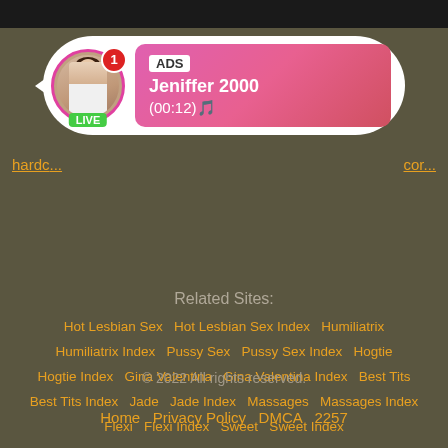[Figure (screenshot): Ad banner with live user profile: avatar photo with LIVE badge, ADS label, name Jeniffer 2000, time (00:12)]
harde... cor...
Related Sites:
Hot Lesbian Sex   Hot Lesbian Sex Index   Humiliatrix   Humiliatrix Index   Pussy Sex   Pussy Sex Index   Hogtie   Hogtie Index   Gina Valentina   Gina Valentina Index   Best Tits   Best Tits Index   Jade   Jade Index   Massages   Massages Index   Flexi   Flexi Index   Sweet   Sweet Index
© 2022 All rights reserved.
Home   Privacy Policy   DMCA   2257